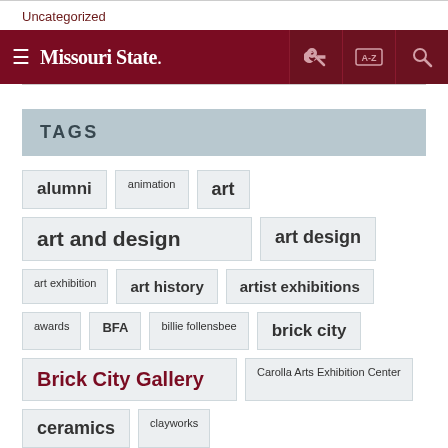Uncategorized
Missouri State — navigation bar with hamburger menu, key icon, A-Z index, and search icon
TAGS
alumni
animation
art
art and design
art design
art exhibition
art history
artist exhibitions
awards
BFA
billie follensbee
brick city
Brick City Gallery
Carolla Arts Exhibition Center
ceramics
clayworks